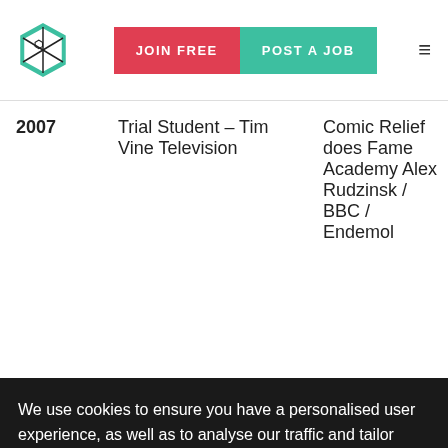JOIN FREE | POST A JOB
| Year | Title | Production |
| --- | --- | --- |
| 2007 | Trial Student – Tim Vine Television | Comic Relief does Fame Academy Alex Rudzinsk / BBC / Endemol |
We use cookies to ensure you have a personalised user experience, as well as to analyse our traffic and tailor content, ads and social media features. We share some of this information with our technology, analytics and marketing partners. Privacy Policy
ACCEPT COOKIES
Education
| Year | Title | Institution |
| --- | --- | --- |
| 2008 | BA (hons) Community Theatre | East 15 Acting school |